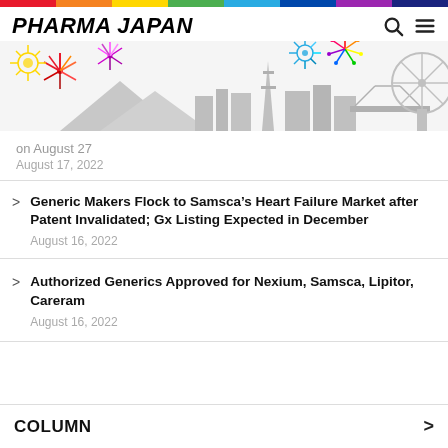PHARMA JAPAN
[Figure (illustration): Pharma Japan website header banner with Tokyo skyline silhouette and colorful fireworks celebration illustration]
on August 27
August 17, 2022
Generic Makers Flock to Samsca's Heart Failure Market after Patent Invalidated; Gx Listing Expected in December
August 16, 2022
Authorized Generics Approved for Nexium, Samsca, Lipitor, Careram
August 16, 2022
COLUMN